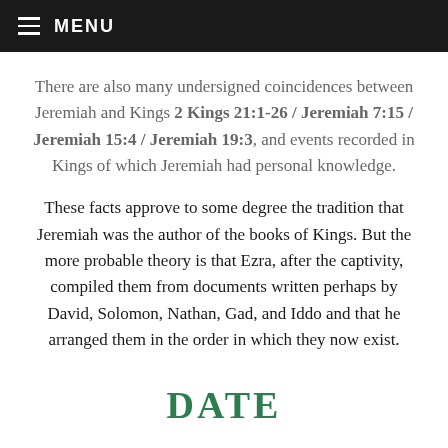MENU
There are also many undersigned coincidences between Jeremiah and Kings 2 Kings 21:1-26 / Jeremiah 7:15 / Jeremiah 15:4 / Jeremiah 19:3, and events recorded in Kings of which Jeremiah had personal knowledge.
These facts approve to some degree the tradition that Jeremiah was the author of the books of Kings. But the more probable theory is that Ezra, after the captivity, compiled them from documents written perhaps by David, Solomon, Nathan, Gad, and Iddo and that he arranged them in the order in which they now exist.
DATE